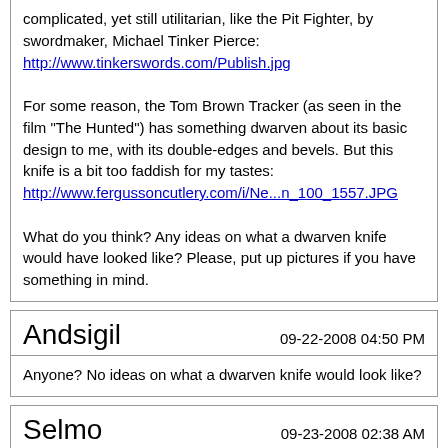complicated, yet still utilitarian, like the Pit Fighter, by swordmaker, Michael Tinker Pierce:
http://www.tinkerswords.com/Publish.jpg

For some reason, the Tom Brown Tracker (as seen in the film "The Hunted") has something dwarven about its basic design to me, with its double-edges and bevels. But this knife is a bit too faddish for my tastes:
http://www.fergussoncutlery.com/i/Ne...n_100_1557.JPG

What do you think? Any ideas on what a dwarven knife would have looked like? Please, put up pictures if you have something in mind.
Andsigil
09-22-2008 04:50 PM
Anyone? No ideas on what a dwarven knife would look like?
Selmo
09-23-2008 02:38 AM
Tolkien's dwarves were craftsmen (should that be craftsdwarves?) A good craftsman has a different tool for each task so general purpose knives would not be favoured by dwarves. Gimli said, "Dwarves make light of burdens", so the extra weight of a whole set of different knives would not be a problem.

As craftsmen, dwarves would prefer well-made, simple, functional tools but they were also obsessed with gathering wealth. I imagine